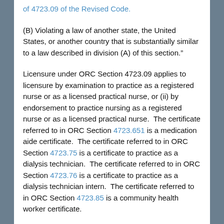of 4723.09 of the Revised Code.
(B) Violating a law of another state, the United States, or another country that is substantially similar to a law described in division (A) of this section.”
Licensure under ORC Section 4723.09 applies to licensure by examination to practice as a registered nurse or as a licensed practical nurse, or (ii) by endorsement to practice nursing as a registered nurse or as a licensed practical nurse.  The certificate referred to in ORC Section 4723.651 is a medication aide certificate.  The certificate referred to in ORC Section 4723.75 is a certificate to practice as a dialysis technician.  The certificate referred to in ORC Section 4723.76 is a certificate to practice as a dialysis technician intern.  The certificate referred to in ORC Section 4723.85 is a community health worker certificate.
An individual who has been convicted of, pleaded guilty to, or has a judicial finding of guilt for violation of any of the following offenses, or for violating a law of another